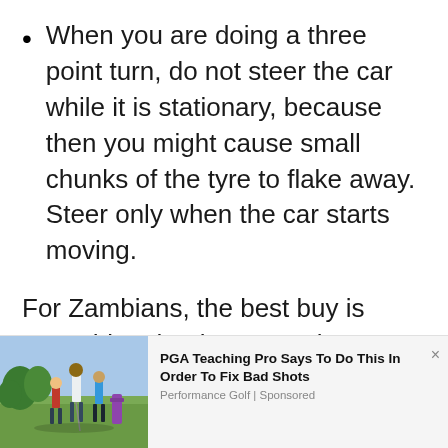When you are doing a three point turn, do not steer the car while it is stationary, because then you might cause small chunks of the tyre to flake away. Steer only when the car starts moving.
For Zambians, the best buy is something that is a cross between off-road and normal tyres.
[Figure (photo): Photo of people on a golf course with golf equipment]
PGA Teaching Pro Says To Do This In Order To Fix Bad Shots
Performance Golf | Sponsored